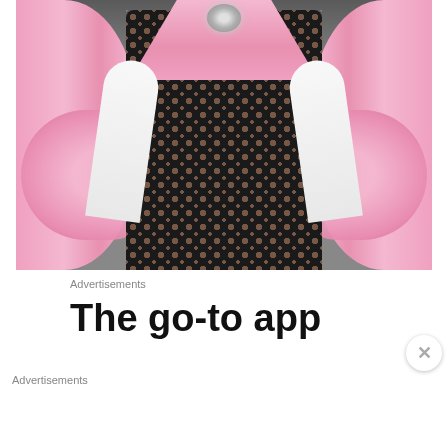[Figure (photo): Close-up photo of a Barbie doll wearing a pink satin gown with black lace bodice overlay, jewel brooch at chest, and white gloves. Pink bow/sash details on sides. Blurred background.]
Advertisements
The go-to app
[Figure (screenshot): Victoria's Secret advertisement banner with model photo, Victoria's Secret logo with checkmark, text 'SHOP THE COLLECTION', and a white 'SHOP NOW' button on pink background.]
Advertisements